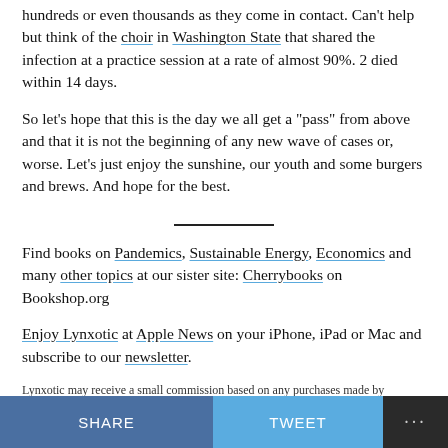hundreds or even thousands as they come in contact. Can't help but think of the choir in Washington State that shared the infection at a practice session at a rate of almost 90%. 2 died within 14 days.
So let's hope that this is the day we all get a "pass" from above and that it is not the beginning of any new wave of cases or, worse. Let's just enjoy the sunshine, our youth and some burgers and brews. And hope for the best.
Find books on Pandemics, Sustainable Energy, Economics and many other topics at our sister site: Cherrybooks on Bookshop.org
Enjoy Lynxotic at Apple News on your iPhone, iPad or Mac and subscribe to our newsletter.
Lynxotic may receive a small commission based on any purchases made by
SHARE   TWEET   ...